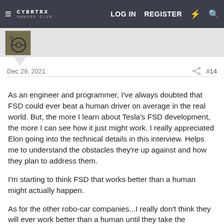CYBRTRX OWNERS CLUB — LOG IN   REGISTER
[Figure (photo): User avatar thumbnail showing a bicycle/outdoor scene]
Dec 29, 2021   #14
As an engineer and programmer, I've always doubted that FSD could ever beat a human driver on average in the real world. But, the more I learn about Tesla's FSD development, the more I can see how it just might work. I really appreciated Elon going into the technical details in this interview. Helps me to understand the obstacles they're up against and how they plan to address them.

I'm starting to think FSD that works better than a human might actually happen.

As for the other robo-car companies...I really don't think they will ever work better than a human until they take the approach that Tesla is pioneering: Reduce the heuristics,